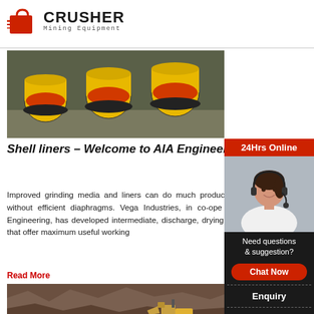CRUSHER Mining Equipment
[Figure (photo): Yellow cylindrical industrial mill shell liners/grinding equipment lined up in a row]
Shell liners – Welcome to AIA Engineering/Vega Industries
Improved grinding media and liners can do much productivity but the benefits can reduce without efficient diaphragms. Vega Industries, in co-operation with parent company AIA Engineering, has developed intermediate, discharge, drying chamber and double diaphragms that offer maximum useful working
Read More
[Figure (photo): Aerial view of a mining quarry with excavation equipment]
[Figure (photo): 24Hrs Online customer service representative - woman with headset smiling]
Need questions & suggestion?
Chat Now
Enquiry
limingjlmofen@sina.com